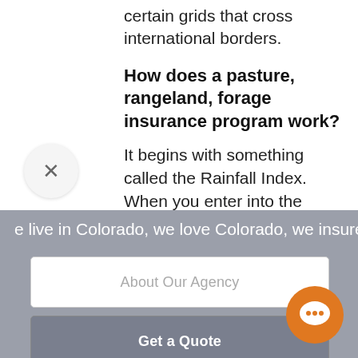certain grids that cross international borders.
How does a pasture, rangeland, forage insurance program work?
It begins with something called the Rainfall Index. When you enter into the program, you have to choose at least two 2-month periods, called index intervals, where precipitation is vital to the success of your business.
e live in Colorado, we love Colorado, we insure
About Our Agency
Get a Quote